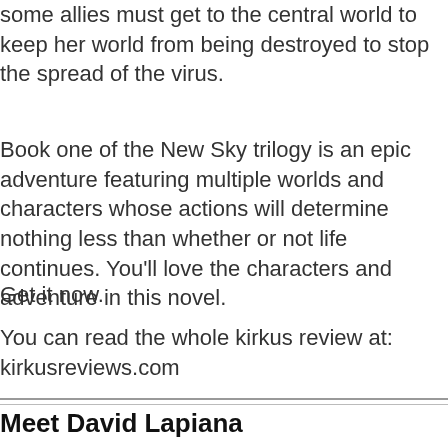some allies must get to the central world to keep her world from being destroyed to stop the spread of the virus.
Book one of the New Sky trilogy is an epic adventure featuring multiple worlds and characters whose actions will determine nothing less than whether or not life continues. You’ll love the characters and adventure in this novel.
Get it now.
You can read the whole kirkus review at: kirkusreviews.com
Meet David Lapiana